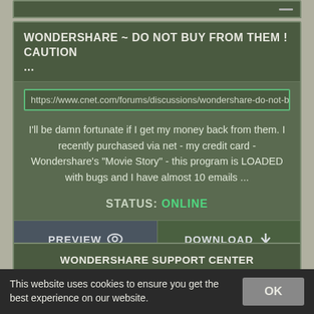WONDERSHARE ~ DO NOT BUY FROM THEM ! CAUTION ...
https://www.cnet.com/forums/discussions/wondershare-do-not-b
I'll be damn fortunate if I get my money back from them. I recently purchased via net - my credit card - Wondershare's "Movie Story" - this program is LOADED with bugs and I have almost 10 emails ...
STATUS: ONLINE
PREVIEW
DOWNLOAD
WONDERSHARE SUPPORT CENTER
This website uses cookies to ensure you get the best experience on our website.